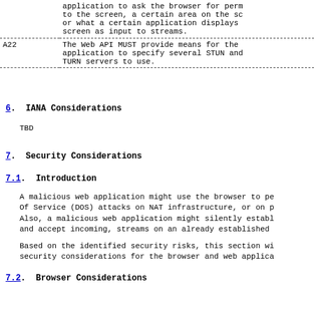| ID | Description |
| --- | --- |
|  | application to ask the browser for perm to the screen, a certain area on the sc or what a certain application displays screen as input to streams. |
| A22 | The Web API MUST provide means for the application to specify several STUN and TURN servers to use. |
6.  IANA Considerations
TBD
7.  Security Considerations
7.1.  Introduction
A malicious web application might use the browser to pe Of Service (DOS) attacks on NAT infrastructure, or on p Also, a malicious web application might silently establ and accept incoming, streams on an already established
Based on the identified security risks, this section wi security considerations for the browser and web applica
7.2.  Browser Considerations